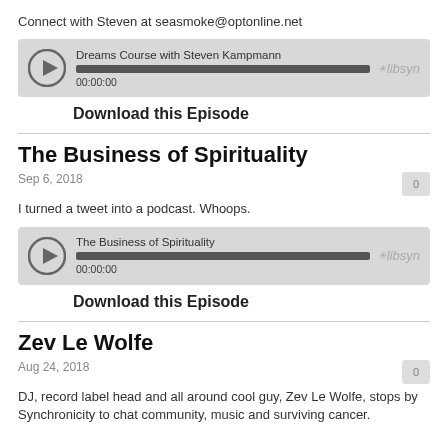Connect with Steven at seasmoke@optonline.net
[Figure (other): Libsyn audio player widget for 'Dreams Course with Steven Kampmann' showing play button, progress bar, timestamp 00:00:00, and Libsyn logo]
Download this Episode
The Business of Spirituality
Sep 6, 2018
I turned a tweet into a podcast. Whoops.
[Figure (other): Libsyn audio player widget for 'The Business of Spirituality' showing play button, progress bar, timestamp 00:00:00, and Libsyn logo]
Download this Episode
Zev Le Wolfe
Aug 24, 2018
DJ, record label head and all around cool guy, Zev Le Wolfe, stops by Synchronicity to chat community, music and surviving cancer.